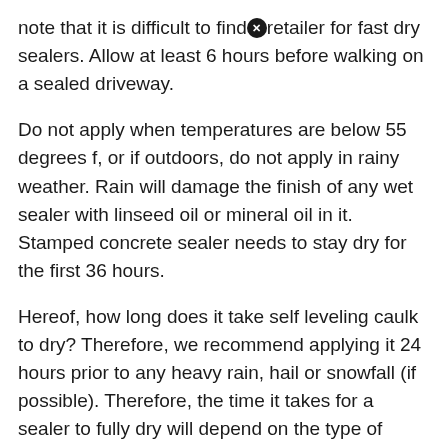note that it is difficult to find [icon] retailer for fast dry sealers. Allow at least 6 hours before walking on a sealed driveway.
Do not apply when temperatures are below 55 degrees f, or if outdoors, do not apply in rainy weather. Rain will damage the finish of any wet sealer with linseed oil or mineral oil in it. Stamped concrete sealer needs to stay dry for the first 36 hours.
Hereof, how long does it take self leveling caulk to dry? Therefore, we recommend applying it 24 hours prior to any heavy rain, hail or snowfall (if possible). Therefore, the time it takes for a sealer to fully dry will depend on the type of sealer you use.
It can take up to 30 days to cure to 100%. It was done and then rained a little 4 hours la [icon] r. How long does flex seal